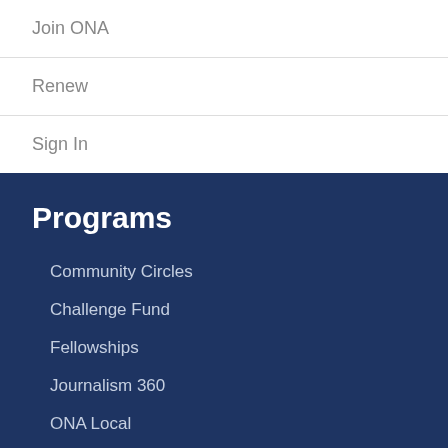Join ONA
Renew
Sign In
Programs
Community Circles
Challenge Fund
Fellowships
Journalism 360
ONA Local
Student Newsroom
Women's Leadership Accelerator